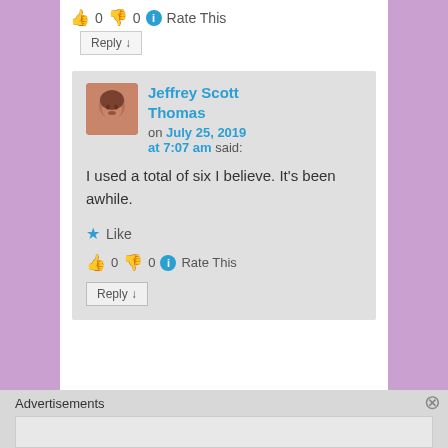👍 0 👎 0 ℹ Rate This
Reply ↓
Jeffrey Scott Thomas on July 25, 2019 at 7:07 am said:
I used a total of six I believe. It's been awhile.
★ Like
👍 0 👎 0 ℹ Rate This
Reply ↓
Advertisements